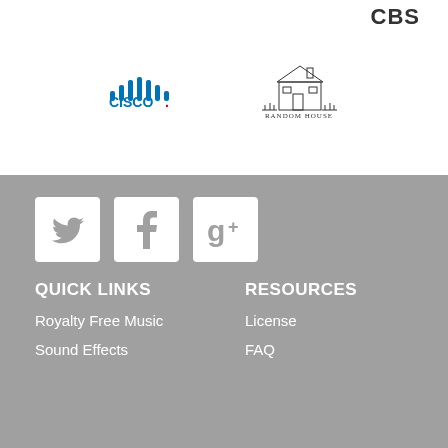[Figure (logo): CBS logo text in top right area]
[Figure (logo): Cisco logo with vertical bars and CISCO text in blue/red]
[Figure (logo): Random House logo with house illustration and text]
[Figure (other): Social media icons: Twitter bird, Facebook f, Google+ g+ on grey background]
QUICK LINKS
RESOURCES
Royalty Free Music
License
Sound Effects
FAQ